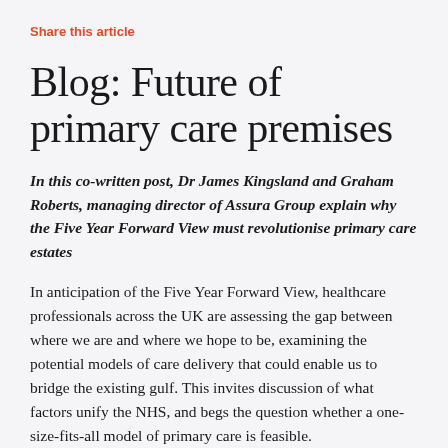Share this article
Blog: Future of primary care premises
In this co-written post, Dr James Kingsland and Graham Roberts, managing director of Assura Group explain why the Five Year Forward View must revolutionise primary care estates
In anticipation of the Five Year Forward View, healthcare professionals across the UK are assessing the gap between where we are and where we hope to be, examining the potential models of care delivery that could enable us to bridge the existing gulf. This invites discussion of what factors unify the NHS, and begs the question whether a one-size-fits-all model of primary care is feasible.